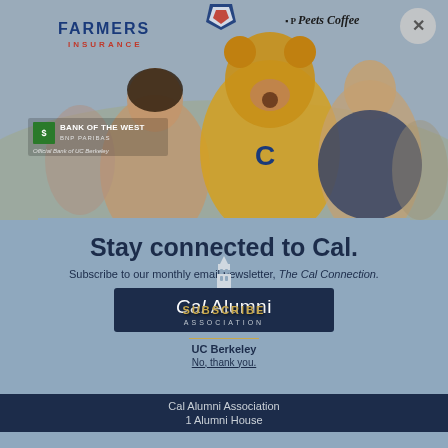[Figure (photo): Photo of students and a bear mascot at UC Berkeley event, with Farmers Insurance, Peet's Coffee, and Bank of the West logos overlaid. A close button (X) appears in the top right.]
Stay connected to Cal.
Subscribe to our monthly email newsletter, The Cal Connection.
[Figure (logo): Cal Alumni Association logo with Campanile tower icon, dark navy background, gold text reading 'Cal Alumni' and 'ASSOCIATION'. A 'SUBSCRIBE' overlay appears on the button.]
UC Berkeley
No, thank you.
Cal Alumni Association
1 Alumni House